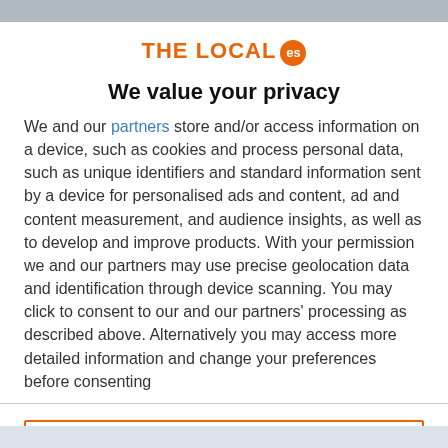[Figure (logo): THE LOCAL es logo with orange text and orange circular badge with 'es']
We value your privacy
We and our partners store and/or access information on a device, such as cookies and process personal data, such as unique identifiers and standard information sent by a device for personalised ads and content, ad and content measurement, and audience insights, as well as to develop and improve products. With your permission we and our partners may use precise geolocation data and identification through device scanning. You may click to consent to our and our partners' processing as described above. Alternatively you may access more detailed information and change your preferences before consenting
ACCEPT
MORE OPTIONS